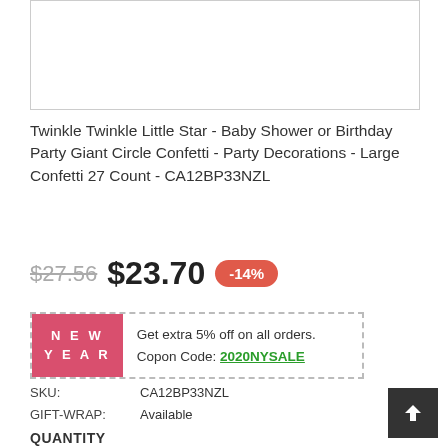[Figure (other): Product image placeholder area]
Twinkle Twinkle Little Star - Baby Shower or Birthday Party Giant Circle Confetti - Party Decorations - Large Confetti 27 Count - CA12BP33NZL
$27.56 $23.70 -14%
NEW YEAR Get extra 5% off on all orders. Copon Code: 2020NYSALE
SKU: CA12BP33NZL
GIFT-WRAP: Available
QUANTITY